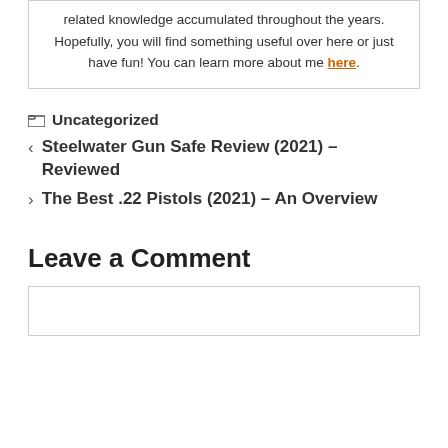related knowledge accumulated throughout the years. Hopefully, you will find something useful over here or just have fun! You can learn more about me here.
Uncategorized
< Steelwater Gun Safe Review (2021) – Reviewed
> The Best .22 Pistols (2021) – An Overview
Leave a Comment